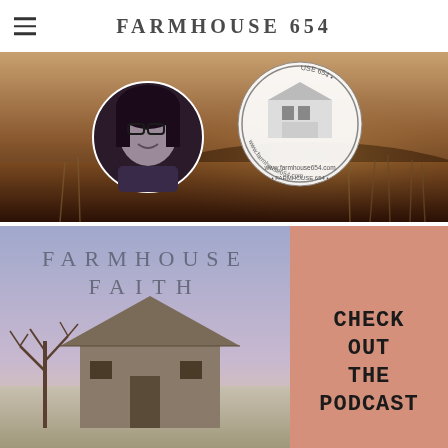FARMHOUSE 654
[Figure (photo): Banner photo showing a woman with dark hair and glasses smiling, overlaid with a circular stamp logo for Farmhouse 654 (www.farmhouse654.com), set against a sepia-toned farm field background]
[Figure (photo): Farmhouse Faith podcast promotional image split into two sections: left side shows a farm scene with barn and bare tree against a purple-blue sky with text 'FARMHOUSE FAITH' in large spaced letters; right side is a salmon/terracotta pink panel with bold text 'CHECK OUT THE PODCAST']